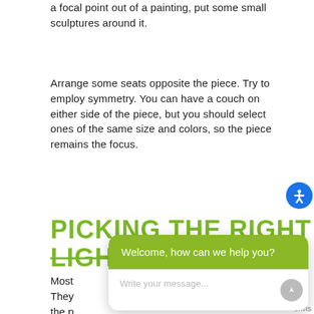a focal point out of a painting, put some small sculptures around it.
Arrange some seats opposite the piece. Try to employ symmetry. You can have a couch on either side of the piece, but you should select ones of the same size and colors, so the piece remains the focus.
PICKING THE RIGHT LIGHTING FIXTURE
Most... They... the p... solution, yet you need to find the right type of fixture for you.
[Figure (screenshot): Chat widget overlay with green header saying 'Welcome, how can we help you?' and an input field reading 'Write your message...', with a gray close button, gray send button, and blue accessibility icon.]